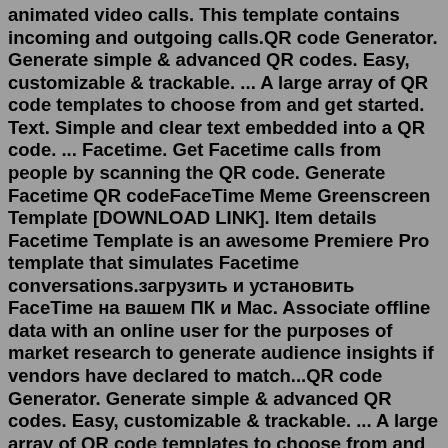animated video calls. This template contains incoming and outgoing calls.QR code Generator. Generate simple & advanced QR codes. Easy, customizable & trackable. ... A large array of QR code templates to choose from and get started. Text. Simple and clear text embedded into a QR code. ... Facetime. Get Facetime calls from people by scanning the QR code. Generate Facetime QR codeFaceTime Meme Greenscreen Template [DOWNLOAD LINK]. Item details Facetime Template is an awesome Premiere Pro template that simulates Facetime conversations.загрузить и установить FaceTime на вашем ПК и Mac. Associate offline data with an online user for the purposes of market research to generate audience insights if vendors have declared to match...QR code Generator. Generate simple & advanced QR codes. Easy, customizable & trackable. ... A large array of QR code templates to choose from and get started. Text. Simple and clear text embedded into a QR code. ... Facetime. Get Facetime calls from people by scanning the QR code. Generate Facetime